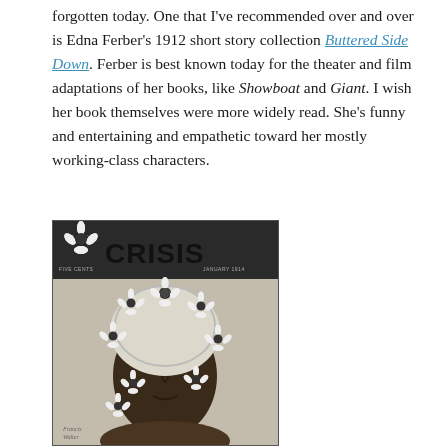forgotten today. One that I've recommended over and over is Edna Ferber's 1912 short story collection Buttered Side Down. Ferber is best known today for the theater and film adaptations of her books, like Showboat and Giant. I wish her book themselves were more widely read. She's funny and entertaining and empathetic toward her mostly working-class characters.
[Figure (illustration): Black and white illustration of the cover of 'The Crisis' magazine, January 1914, showing a woman's face surrounded by daisy flowers, with 'THE CRISIS' text at the top. Artist signature reads 'Francis Walter' at the bottom left.]